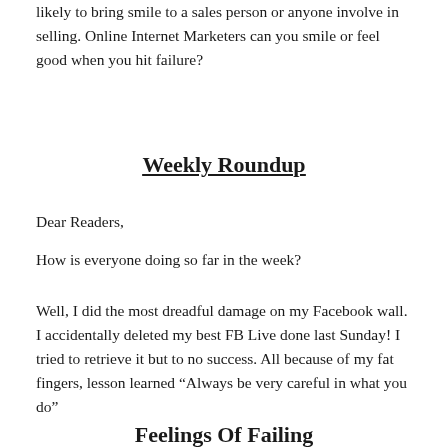likely to bring smile to a sales person or anyone involve in selling. Online Internet Marketers can you smile or feel good when you hit failure?
Weekly Roundup
Dear Readers,
How is everyone doing so far in the week?
Well, I did the most dreadful damage on my Facebook wall. I accidentally deleted my best FB Live done last Sunday! I tried to retrieve it but to no success. All because of my fat fingers, lesson learned “Always be very careful in what you do”
Feelings Of Failing